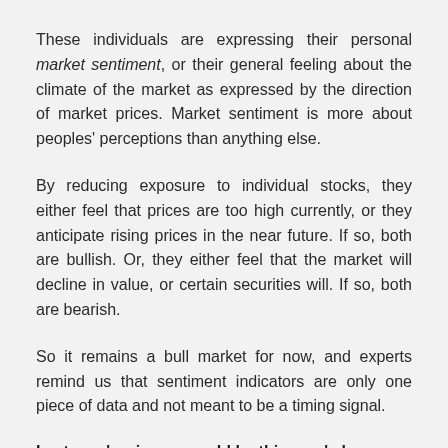These individuals are expressing their personal market sentiment, or their general feeling about the climate of the market as expressed by the direction of market prices. Market sentiment is more about peoples' perceptions than anything else.
By reducing exposure to individual stocks, they either feel that prices are too high currently, or they anticipate rising prices in the near future. If so, both are bullish. Or, they either feel that the market will decline in value, or certain securities will. If so, both are bearish.
So it remains a bull market for now, and experts remind us that sentiment indicators are only one piece of data and not meant to be a timing signal.
Last year's winners could be this year's losers